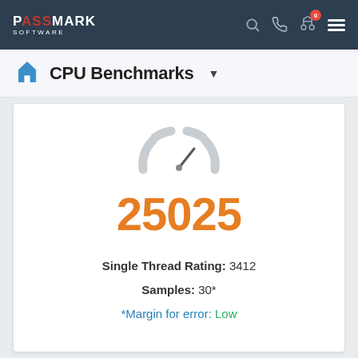PassMark Software — CPU Benchmarks
CPU Benchmarks
[Figure (infographic): Speedometer/gauge icon indicating benchmark score, needle pointing lower-right. Score displayed: 25025. Single Thread Rating: 3412. Samples: 30*. *Margin for error: Low]
Single Thread Rating: 3412
Samples: 30*
*Margin for error: Low